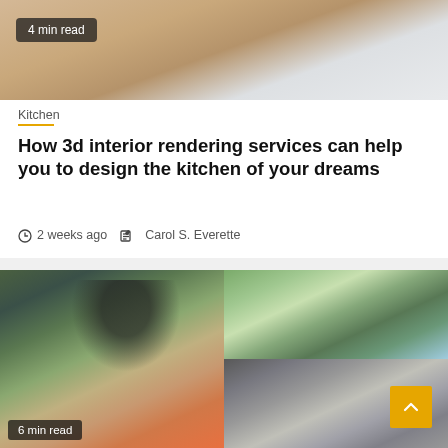[Figure (photo): Top partial photo of stacked wooden panels or boards on a wooden surface, warm brown tones]
4 min read
Kitchen
How 3d interior rendering services can help you to design the kitchen of your dreams
2 weeks ago   Carol S. Everette
[Figure (photo): Man with glasses and dark shirt cooking outdoors, pouring from a bottle over a grill pan]
6 min read
[Figure (photo): Outdoor kitchen with stone wall, trees and blue sky in upper half, BBQ grill and dark countertop in lower half]